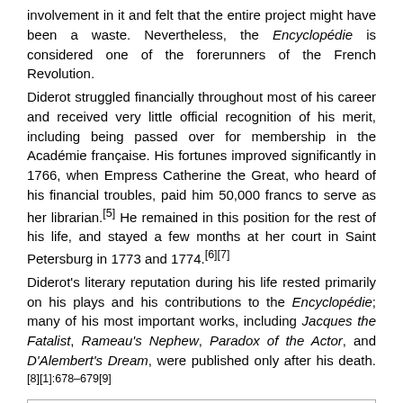involvement in it and felt that the entire project might have been a waste. Nevertheless, the Encyclopédie is considered one of the forerunners of the French Revolution.
Diderot struggled financially throughout most of his career and received very little official recognition of his merit, including being passed over for membership in the Académie française. His fortunes improved significantly in 1766, when Empress Catherine the Great, who heard of his financial troubles, paid him 50,000 francs to serve as her librarian.[5] He remained in this position for the rest of his life, and stayed a few months at her court in Saint Petersburg in 1773 and 1774.[6][7]
Diderot's literary reputation during his life rested primarily on his plays and his contributions to the Encyclopédie; many of his most important works, including Jacques the Fatalist, Rameau's Nephew, Paradox of the Actor, and D'Alembert's Dream, were published only after his death.[8][1]:678–679[9]
| Contents |
| --- |
| Early life |